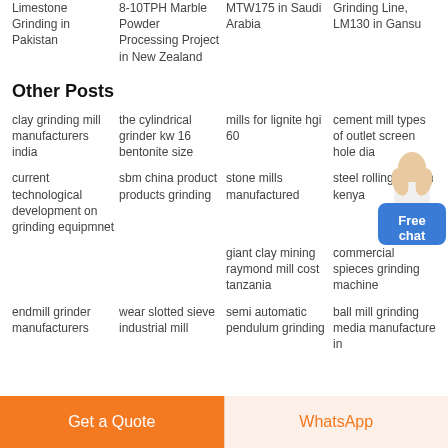Limestone Grinding in Pakistan
8-10TPH Marble Powder Processing Project in New Zealand
MTW175 in Saudi Arabia
Grinding Line, LM130 in Gansu
Other Posts
clay grinding mill manufacturers india
the cylindrical grinder kw 16 bentonite size
mills for lignite hgi 60
cement mill types of outlet screen hole dia
current technological development on grinding equipmnet
sbm china product products grinding
stone mills manufactured
steel rolling mills in kenya
giant clay mining raymond mill cost tanzania
commercial spieces grinding machine
endmill grinder manufacturers
wear slotted sieve industrial mill
semi automatic pendulum grinding
ball mill grinding media manufacture in